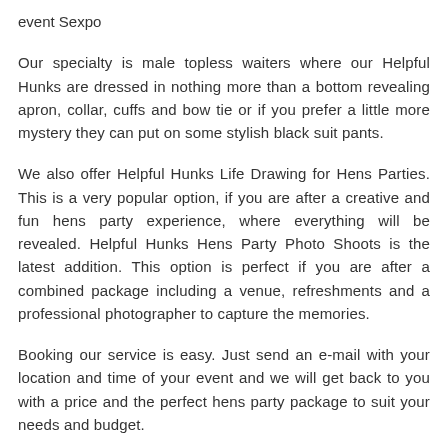event Sexpo
Our specialty is male topless waiters where our Helpful Hunks are dressed in nothing more than a bottom revealing apron, collar, cuffs and bow tie or if you prefer a little more mystery they can put on some stylish black suit pants.
We also offer Helpful Hunks Life Drawing for Hens Parties. This is a very popular option, if you are after a creative and fun hens party experience, where everything will be revealed. Helpful Hunks Hens Party Photo Shoots is the latest addition. This option is perfect if you are after a combined package including a venue, refreshments and a professional photographer to capture the memories.
Booking our service is easy. Just send an e-mail with your location and time of your event and we will get back to you with a price and the perfect hens party package to suit your needs and budget.